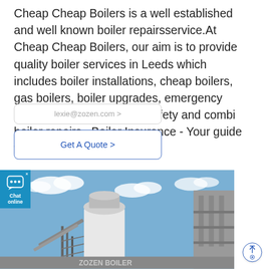Cheap Cheap Boilers is a well established and well known boiler repairsservice.At Cheap Cheap Boilers, our aim is to provide quality boiler services in Leeds which includes boiler installations, cheap boilers, gas boilers, boiler upgrades, emergency plumbers, gas leaks, gas safety and combi boiler repairs.. Boiler Insurance - Your guide to
lexie@zozen.com >
Get A Quote >
[Figure (photo): Industrial boiler tower/silo structure with scaffolding against a blue sky with clouds, a large cylindrical white vessel visible, industrial building structures on the right, and a watermark reading ZOZEN BOILER at the bottom center.]
Chat online